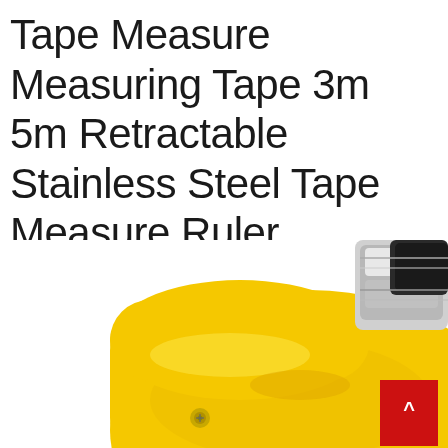Tape Measure Measuring Tape 3m 5m Retractable Stainless Steel Tape Measure Ruler Measuring Metric Tape Rule
[Figure (photo): Close-up photo of a yellow retractable tape measure with a metal clip/hook visible at the top right corner, against a white background. A small red badge/button is visible in the bottom right area.]